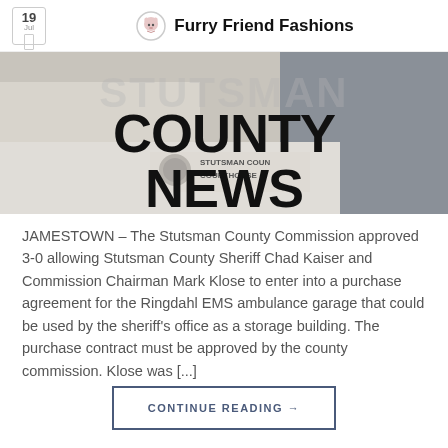19 Jul | Furry Friend Fashions
[Figure (photo): Stutsman County Courthouse interior with large bold text reading COUNTY NEWS overlaid on the image]
JAMESTOWN – The Stutsman County Commission approved 3-0 allowing Stutsman County Sheriff Chad Kaiser and Commission Chairman Mark Klose to enter into a purchase agreement for the Ringdahl EMS ambulance garage that could be used by the sheriff's office as a storage building. The purchase contract must be approved by the county commission. Klose was [...]
CONTINUE READING →